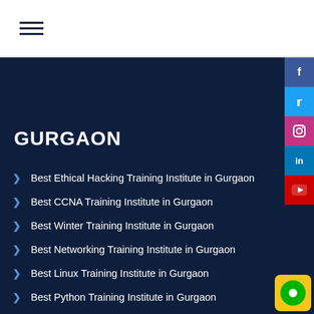hamburger menu icon
GURGAON
Best Ethical Hacking Training Institute in Gurgaon
Best CCNA Training Institute in Gurgaon
Best Winter Training Institute in Gurgaon
Best Networking Training Institute in Gurgaon
Best Linux Training Institute in Gurgaon
Best Python Training Institute in Gurgaon
Best Digital Marketing Training Institute in Gurgaon
Best MCSA 2016 Training Institute in Gurgaon